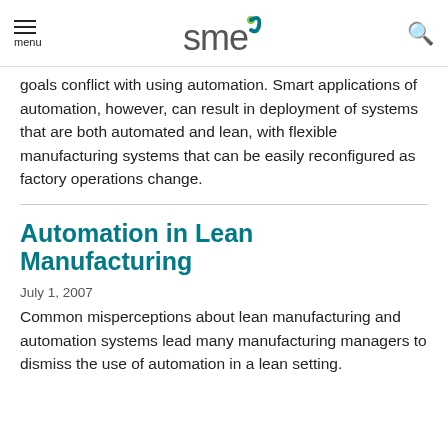SME logo, menu, search
goals conflict with using automation. Smart applications of automation, however, can result in deployment of systems that are both automated and lean, with flexible manufacturing systems that can be easily reconfigured as factory operations change.
Automation in Lean Manufacturing
July 1, 2007
Common misperceptions about lean manufacturing and automation systems lead many manufacturing managers to dismiss the use of automation in a lean setting.